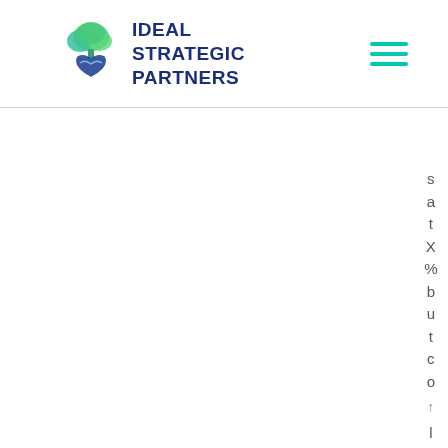[Figure (logo): Ideal Strategic Partners logo: a stylized tree with green and blue tones above a blue heart/handshake icon, next to the text IDEAL STRATEGIC PARTNERS in dark blue bold font]
s a t X % b u t c o l